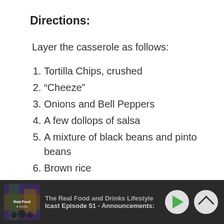Directions:
Layer the casserole as follows:
1. Tortilla Chips, crushed
2. “Cheeze”
3. Onions and Bell Peppers
4. A few dollops of salsa
5. A mixture of black beans and pinto beans
6. Brown rice
The Real Food and Drinks Lifestyle | lcast Episode 51 - Announcements: